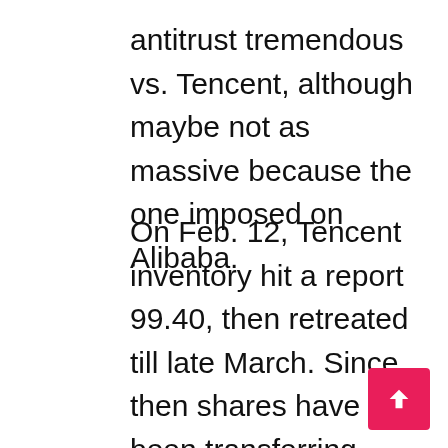antitrust tremendous vs. Tencent, although maybe not as massive because the one imposed on Alibaba.
On Feb. 12, Tencent inventory hit a report 99.40, then retreated till late March. Since then shares have been transferring sideways, although they've tilted increased since discovering help simply above their 200-day line on April 9. However Tencent inventory is caught beneath its 50-day line. Reclaiming that degree would be the first step towards constructing the best aspect of a base, however for now TCEHY inventory is drifting towards its 200-day line. The present purchase level is 99.50, in response to MarketSmith evaluation.